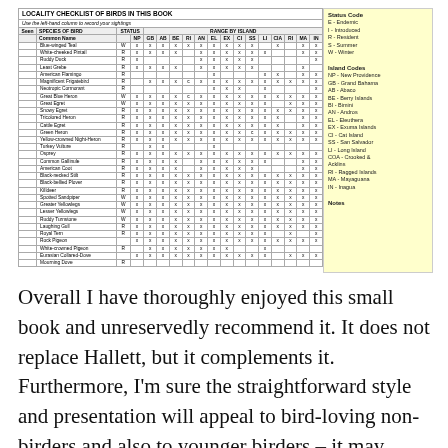| Seen | Common Name | STATUS | NP | GB | AB | BE | RI | AN | EL | EX | CI | SS | LI | CIA | RI | MA | IN |
| --- | --- | --- | --- | --- | --- | --- | --- | --- | --- | --- | --- | --- | --- | --- | --- | --- | --- |
|  | Blue-winged Teal | W | x | x | x | x | x | x | x | x | x | x |  | x |  | x | x |
|  | White-cheeked Pintail | R | x | x | x | x |  | x | x | x | x | x | x |  |  | x | x |
|  | Ruddy Duck | R | x |  |  |  |  | x | x | x | x | x |  |  |  |  | x |
|  | Least Grebe | R | x | x | x | x |  | x | x | x | x | x |  |  |  | x |
|  | American Flamingo | R |  |  |  |  |  |  | x |  |  |  | x | x |  | x | x |
|  | Magnificent Frigatebird | R |  | x | x | x | c | x | x | x | x | x | x | x | x | x | x |
|  | Neotropic Cormorant | R |  |  |  |  |  |  | x | x | x |  | x |  |  |  | x |
|  | Great Blue Heron | W | x | x | x | x | c | x | x | x | x | x | x | x | x | x | x |
|  | Great Egret | W | x | x | x | x | x | x | x | x | x | x | x |  | x | x | x |
|  | Snowy Egret | R | x | x | x | x | x | x | x | x | x | x | x | x | x | x | x |
|  | Tricolored Heron | R | x | x | x | x | x | x | x | x | x | x | x | x |  | x | x |
|  | Cattle Egret | R | x | x | x | x | x | x | x | x | x | x | x | x |  | x | x |
|  | Green Heron | R | x | x | x | x | x | x | x | x | x | c | x | x | x | x | x |
|  | Yellow-crowned Night-Heron | R | x | x | x | x | x | x | x | x | x | x | x | x | x | x | x |
|  | Turkey Vulture | R |  | x | x |  |  |  | x |  |  |  |  |  |  |  |  |
|  | Osprey | R | x | x | x | x | x | x | x | x | x | x | x | x | x | x | x |
|  | Common Gallinule | R | x | x | x | x |  | x | x | x | x | x | x |  |  | x | x |
|  | American Coot | R | x | x | x | x |  | x | x | x | x | x |  |  |  | x | x |
|  | Black-necked Stilt | R | x | x | x | x | x | x | x | x | x | x | x | x | x | x | x |
|  | Black-bellied Plover | R | x | x | x | x | x | x | x | x | x | x | x | x | x | x | x |
|  | Killdeer | R | x | x | x | x | x | x | x | x | x | x | x | x | x | x | x |
|  | Spotted Sandpiper | W | x | x | x | x | x | x | x | x | x | x | x | x | x | x | x |
|  | Greater Yellowlegs | W | x | x | x | x | x | x | x | x | x | x | x | x | x | x | x |
|  | Lesser Yellowlegs | W | x | x | x | x | x | x | x | x | x | x | x | x | x | x | x |
|  | Ruddy Turnstone | W | x | x | x | x | x | x | x | x | x | x | x | x | x | x | x |
|  | Laughing Gull | R | x | x | x | x | x | x | x | x | x | x | x | x | x | x | x |
|  | Royal Tern | R | x | x | x | x | x | x | x | x | x | x | x |  | x |  | x |
|  | Rock Pigeon |  | x | x | x | x | x | x | x | x | x | x | x | x | x | x | x |
|  | White-crowned Pigeon | R |  | x | x | x | x | x | x | x |  |  | x |  |  |  |  |
|  | Eurasian Collared-Dove |  | x | x | x | x | x | x | x | x | x | x | x |  | x | x | x |
|  | Mourning Dove | R |  |  |  |  |  |  |  |  |  |  |  |  |  |  |  |
Overall I have thoroughly enjoyed this small book and unreservedly recommend it. It does not replace Hallett, but it complements it. Furthermore, I'm sure the straightforward style and presentation will appeal to bird-loving non-birders and also to younger birders – it may